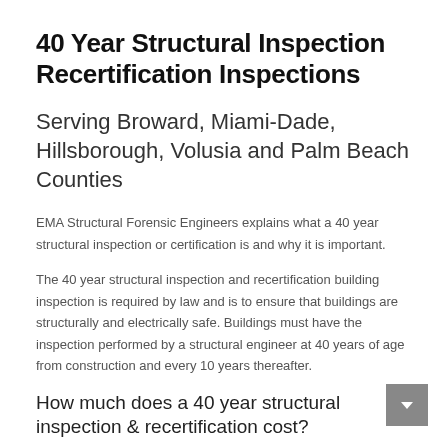40 Year Structural Inspection Recertification Inspections
Serving Broward, Miami-Dade, Hillsborough, Volusia and Palm Beach Counties
EMA Structural Forensic Engineers explains what a 40 year structural inspection or certification is and why it is important.
The 40 year structural inspection and recertification building inspection is required by law and is to ensure that buildings are structurally and electrically safe. Buildings must have the inspection performed by a structural engineer at 40 years of age from construction and every 10 years thereafter.
How much does a 40 year structural inspection & recertification cost?